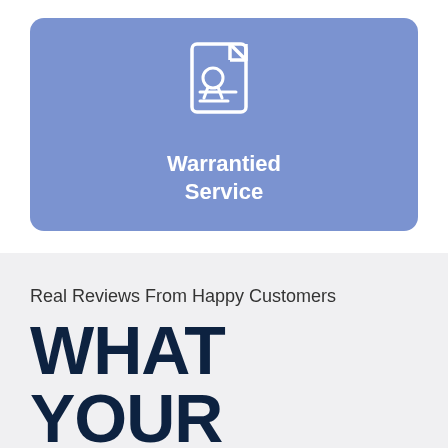[Figure (illustration): A certificate/document icon with a ribbon/seal, rendered in white on a blue-purple rounded rectangle card. Below the icon is the text 'Warrantied Service' in white bold font.]
Real Reviews From Happy Customers
WHAT YOUR NEIGHBORS